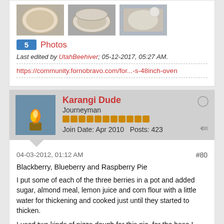[Figure (photo): Three photo thumbnails of pies/doughs in baking dishes]
5 Photos
Last edited by UtahBeehiver; 05-12-2017, 05:27 AM.
https://community.fornobravo.com/for...-s-48inch-oven
Karangi Dude
Journeyman
Join Date: Apr 2010  Posts: 423
04-03-2012, 01:12 AM
#80
Blackberry, Blueberry and Raspberry Pie
I put some of each of the three berries in a pot and added sugar, almond meal, lemon juice and corn flour with a little water for thickening and cooked just until they started to thicken.
I used two kinds of pizza dough for this pie, for the base I used a dough with 10% semollina flour and for the top I used my standard pizza dough.
I rolled out the dough and placed it in a earthenware pie dish filled it with the